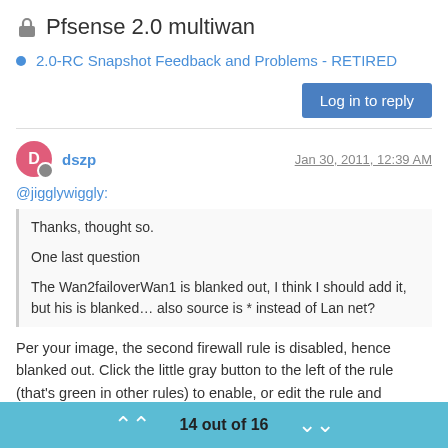Pfsense 2.0 multiwan
2.0-RC Snapshot Feedback and Problems - RETIRED
Log in to reply
dszp   Jan 30, 2011, 12:39 AM
@jigglywiggly:
Thanks, thought so.

One last question

The Wan2failoverWan1 is blanked out, I think I should add it, but his is blanked... also source is * instead of Lan net?
Per your image, the second firewall rule is disabled, hence blanked out. Click the little gray button to the left of the rule (that's green in other rules) to enable, or edit the rule and uncheck the "Disabled" checkbox near the top and save, then apply.
14 out of 16